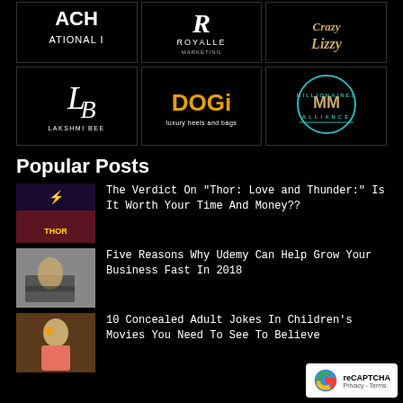[Figure (logo): Top row of brand logos on black background: partial logo 'ATIONAL I', Royalle logo with R, cursive 'Crazy Lizzy' script]
[Figure (logo): Second row of brand logos: Lakshmi Bee scripted logo, DOGi luxury heels and bags in gold, Millionaires Alliance circular teal badge logo]
Popular Posts
[Figure (photo): Thor: Love and Thunder movie poster thumbnail showing Thor with lightning]
The Verdict On "Thor: Love and Thunder:" Is It Worth Your Time And Money??
[Figure (photo): Person typing on laptop thumbnail for Udemy article]
Five Reasons Why Udemy Can Help Grow Your Business Fast In 2018
[Figure (photo): Animated character thumbnail for adult jokes in children's movies article]
10 Concealed Adult Jokes In Children's Movies You Need To See To Believe